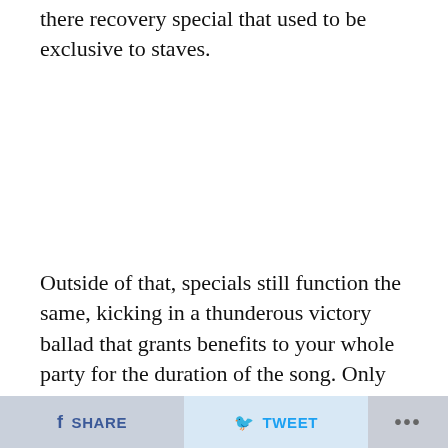there recovery special that used to be exclusive to staves.
Outside of that, specials still function the same, kicking in a thunderous victory ballad that grants benefits to your whole party for the duration of the song. Only Seth's special was available in the demo, but it's safe to assume the chaining of specials will also make a return in the full
SHARE   TWEET   ...